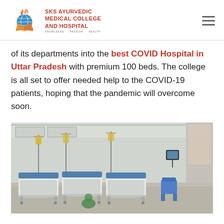SKS AYURVEDIC MEDICAL COLLEGE AND HOSPITAL | KNOWLEDGE · PASSION · HEALTH
of its departments into the best COVID Hospital in Uttar Pradesh with premium 100 beds. The college is all set to offer needed help to the COVID-19 patients, hoping that the pandemic will overcome soon.
[Figure (photo): Interior of a COVID hospital ward showing multiple hospital beds with blue mattresses, medical equipment including IV stands and monitors, white walls with medical gas supply panels, and blue chairs in the background.]